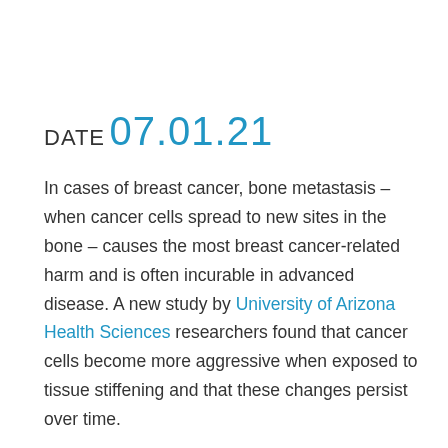DATE
07.01.21
In cases of breast cancer, bone metastasis – when cancer cells spread to new sites in the bone – causes the most breast cancer-related harm and is often incurable in advanced disease. A new study by University of Arizona Health Sciences researchers found that cancer cells become more aggressive when exposed to tissue stiffening and that these changes persist over time.